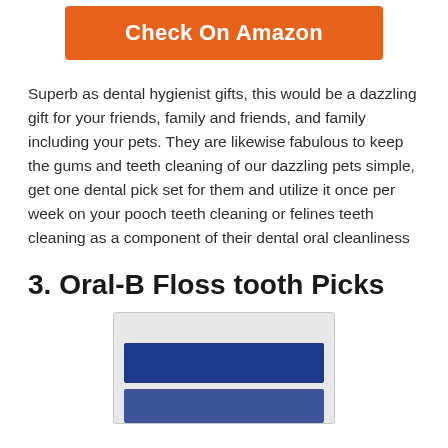[Figure (other): Orange 'Check On Amazon' button]
Superb as dental hygienist gifts, this would be a dazzling gift for your friends, family and friends, and family including your pets. They are likewise fabulous to keep the gums and teeth cleaning of our dazzling pets simple, get one dental pick set for them and utilize it once per week on your pooch teeth cleaning or felines teeth cleaning as a component of their dental oral cleanliness
3. Oral-B Floss tooth Picks
[Figure (photo): Partially visible product packaging for Oral-B Floss tooth Picks showing blue packaging with hanger hole]